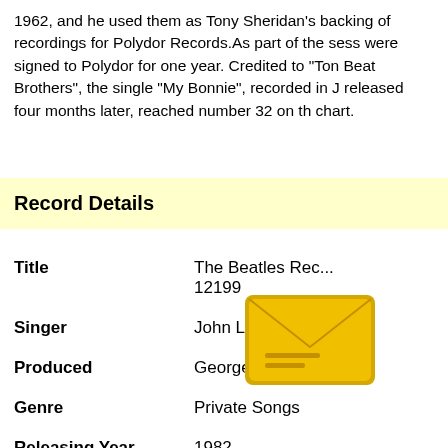1962, and he used them as Tony Sheridan's backing of recordings for Polydor Records. As part of the sess were signed to Polydor for one year. Credited to "Tony Beat Brothers", the single "My Bonnie", recorded in J released four months later, reached number 32 on th chart.
Record Details
| Field | Value |
| --- | --- |
| Title | The Beatles Rec... 12199 |
| Singer | John L... |
| Produced | George Martin |
| Genre | Private Songs |
| Releasing Year | 1982 |